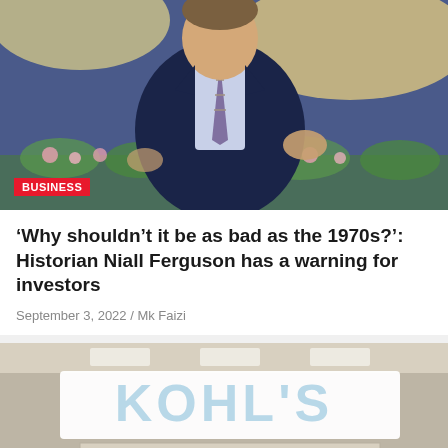[Figure (photo): Man in dark business suit with striped tie seated outdoors, umbrella and greenery in background. Red BUSINESS badge overlay bottom-left.]
'Why shouldn't it be as bad as the 1970s?': Historian Niall Ferguson has a warning for investors
September 3, 2022 / Mk Faizi
[Figure (photo): Kohl's department store interior entrance with large KOHL'S sign above entrance, shoppers walking in, ceiling lights visible. Red back-to-top arrow button bottom-right corner.]